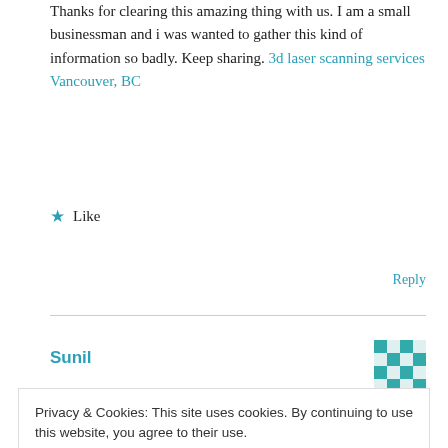Thanks for clearing this amazing thing with us. I am a small businessman and i was wanted to gather this kind of information so badly. Keep sharing. 3d laser scanning services Vancouver, BC
★ Like
Reply
Sunil
Privacy & Cookies: This site uses cookies. By continuing to use this website, you agree to their use.
To find out more, including how to control cookies, see here: Cookie Policy
Close and accept
★ Like